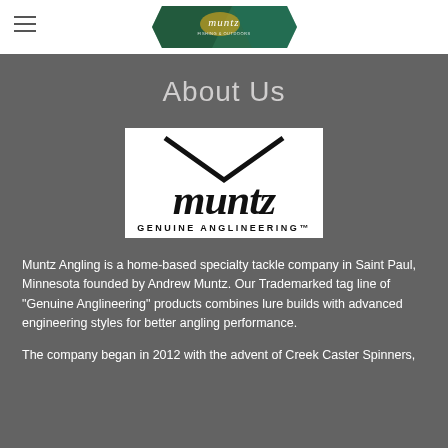muntz [logo banner]
About Us
[Figure (logo): Muntz Genuine Anglineering logo — cursive 'muntz' script with a chevron/arrow above and 'GENUINE ANGLINEERING™' printed below, black on white background]
Muntz Angling is a home-based specialty tackle company in Saint Paul, Minnesota founded by Andrew Muntz. Our Trademarked tag line of "Genuine Anglineering" products combines lure builds with advanced engineering styles for better angling performance.
The company began in 2012 with the advent of Creek Caster Spinners,